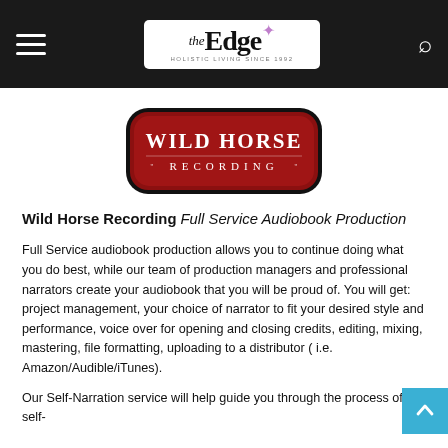the Edge — HOLISTIC LIVING SINCE 1992 (navigation bar)
[Figure (logo): Wild Horse Recording logo — dark red rounded rectangle badge with white serif text reading WILD HORSE RECORDING]
Wild Horse Recording Full Service Audiobook Production
Full Service audiobook production allows you to continue doing what you do best, while our team of production managers and professional narrators create your audiobook that you will be proud of. You will get: project management, your choice of narrator to fit your desired style and performance, voice over for opening and closing credits, editing, mixing, mastering, file formatting, uploading to a distributor ( i.e. Amazon/Audible/iTunes).
Our Self-Narration service will help guide you through the process of self-